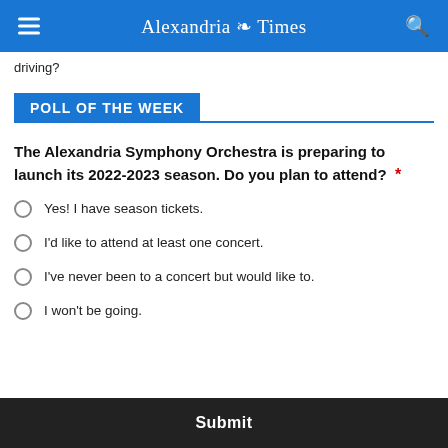Alexandria Times
driving?
POLL OF THE WEEK
The Alexandria Symphony Orchestra is preparing to launch its 2022-2023 season. Do you plan to attend? *
Yes! I have season tickets.
I'd like to attend at least one concert.
I've never been to a concert but would like to.
I won't be going.
Submit